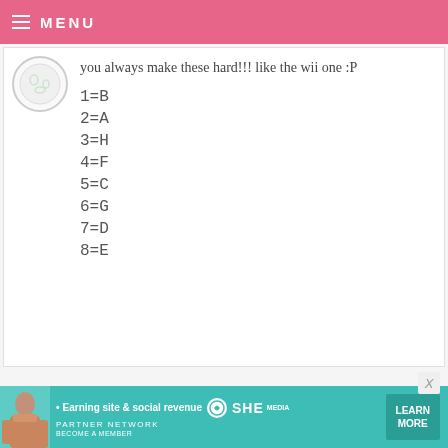MENU
you always make these hard!!! like the wii one :P
1=B
2=A
3=H
4=F
5=C
6=G
7=D
8=E
• Earning site & social revenue  SHE  PARTNER NETWORK  BECOME A MEMBER  LEARN MORE